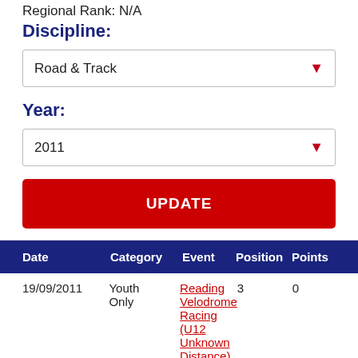Regional Rank: N/A
Discipline:
Road & Track
Year:
2011
UPDATE
| Date | Category | Event | Position | Points |
| --- | --- | --- | --- | --- |
| 19/09/2011 | Youth Only | Reading Velodrome Racing (U12 Unknown Distance) | 3 | 0 |